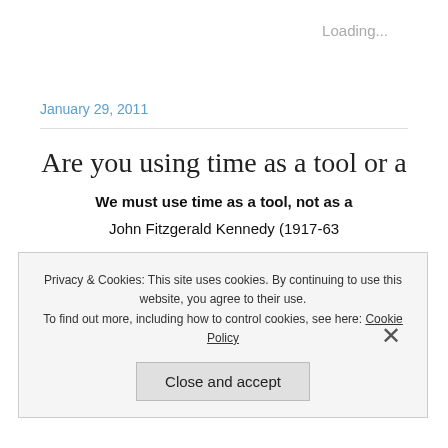Loading...
January 29, 2011
Are you using time as a tool or a
We must use time as a tool, not as a
John Fitzgerald Kennedy (1917-63
Privacy & Cookies: This site uses cookies. By continuing to use this website, you agree to their use. To find out more, including how to control cookies, see here: Cookie Policy
Close and accept